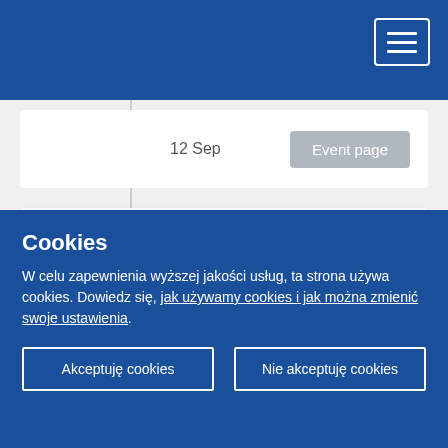Navigation header with hamburger menu button
12 Sep
Event page
Bilateral meetings of the rapporteur
On 11 September 2019, the rapporteur held preparatory meetings for his opinion with
Cookies
W celu zapewnienia wyższej jakości usług, ta strona używa cookies. Dowiedz się, jak używamy cookies i jak można zmienić swoje ustawienia.
Akceptuję cookies
Nie akceptuję cookies